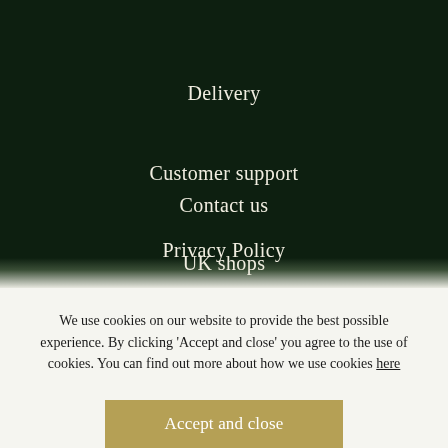Delivery
Customer support
Contact us
Privacy Policy
UK shops
We use cookies on our website to provide the best possible experience. By clicking ‘Accept and close’ you agree to the use of cookies. You can find out more about how we use cookies here
Accept and close